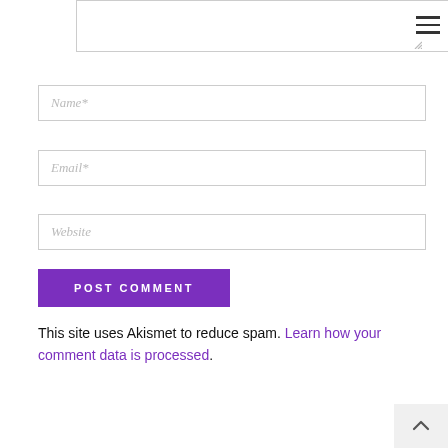[Figure (screenshot): Partial textarea input box at the top of the page with a resize handle and hamburger menu icon in the upper right]
Name*
Email*
Website
POST COMMENT
This site uses Akismet to reduce spam. Learn how your comment data is processed.